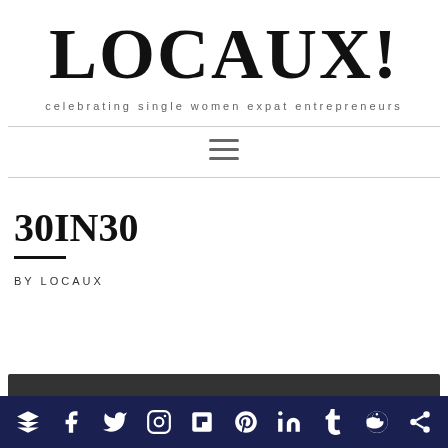LOCAUX!
celebrating single women expat entrepreneurs
[Figure (other): Hamburger navigation menu icon with three horizontal lines]
30IN30
BY LOCAUX
Social share bar with icons: layers/buffer, facebook, twitter, instagram, flipboard, pinterest, linkedin, tumblr, reddit, share